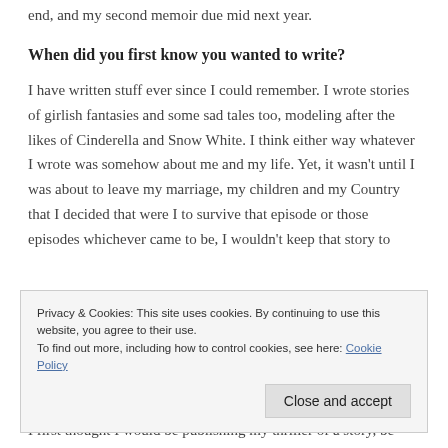end, and my second memoir due mid next year.
When did you first know you wanted to write?
I have written stuff ever since I could remember. I wrote stories of girlish fantasies and some sad tales too, modeling after the likes of Cinderella and Snow White. I think either way whatever I wrote was somehow about me and my life. Yet, it wasn't until I was about to leave my marriage, my children and my Country that I decided that were I to survive that episode or those episodes whichever came to be, I wouldn't keep that story to
Privacy & Cookies: This site uses cookies. By continuing to use this website, you agree to their use.
To find out more, including how to control cookies, see here: Cookie Policy
Two reasons come to mind:
I first thought I would be publishing my thriller of a story, be